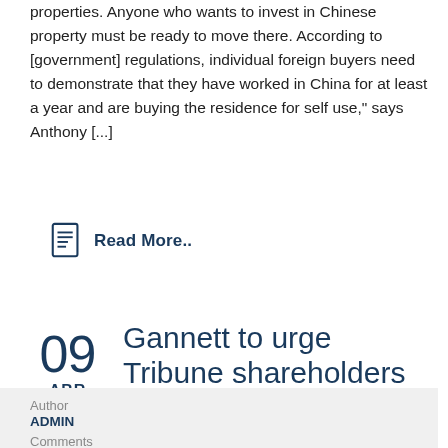properties. Anyone who wants to invest in Chinese property must be ready to move there. According to [government] regulations, individual foreign buyers need to demonstrate that they have worked in China for at least a year and are buying the residence for self use," says Anthony [...]
Read More..
Gannett to urge Tribune shareholders
Author
ADMIN
Comments
0 COMMENTS
Category